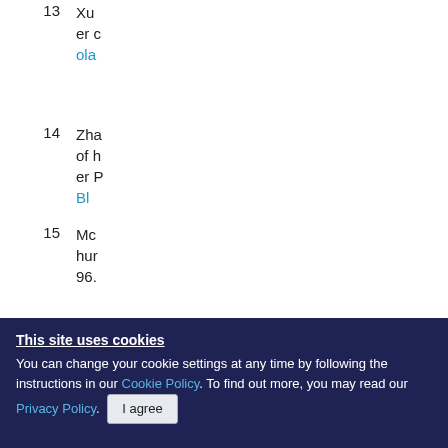13 Xu... olar...
14 Zha... of h... er P... Bl...
15 Mc... hur... 96.
16 Koi...
This site uses cookies You can change your cookie settings at any time by following the instructions in our Cookie Policy. To find out more, you may read our Privacy Policy. I agree